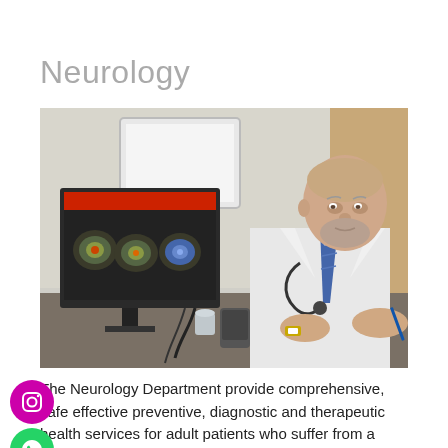Neurology
[Figure (photo): An elderly male doctor in a white coat with stethoscope, sitting at a desk in front of a computer monitor displaying brain scan images, in a clinical office setting.]
The Neurology Department provide comprehensive, safe effective preventive, diagnostic and therapeutic health services for adult patients who suffer from a wide range of nervous system disorders.